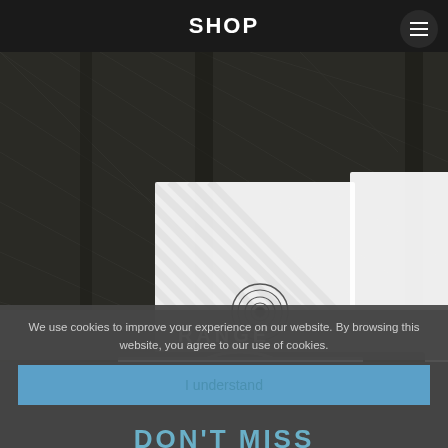SHOP
[Figure (photo): Shooting range photo showing paper targets mounted on a dark mesh backstop. Upper left: white paper target with a small bullseye circle. Upper right: green paper target with large concentric circles. Lower left: two overlapping green targets with concentric circles, used and showing bullet holes. Lower right: five small round metal targets on red stands.]
RANGE
We use cookies to improve your experience on our website. By browsing this website, you agree to our use of cookies.
I understand
DON'T MISS
Settings